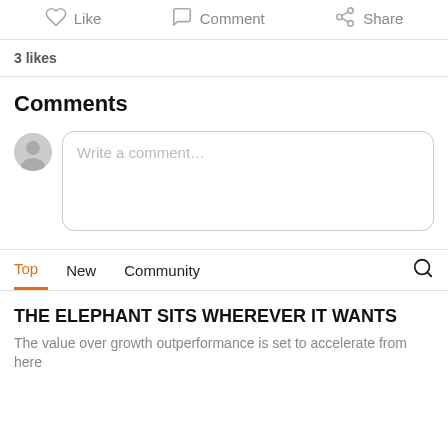Like  Comment  Share
3 likes
Comments
Write a comment…
Top  New  Community
THE ELEPHANT SITS WHEREVER IT WANTS
The value over growth outperformance is set to accelerate from here